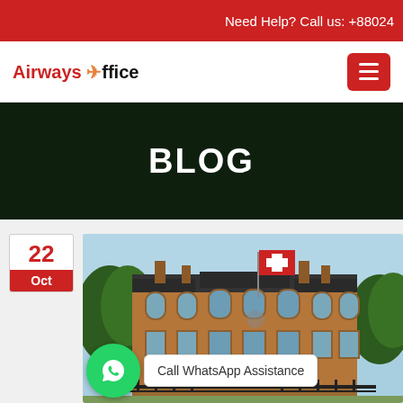Need Help? Call us: +88024
Airways Office
BLOG
22 Oct
[Figure (photo): Brick building with Swiss flag flying, trees and blue sky, appears to be an embassy or consulate.]
Call WhatsApp Assistance